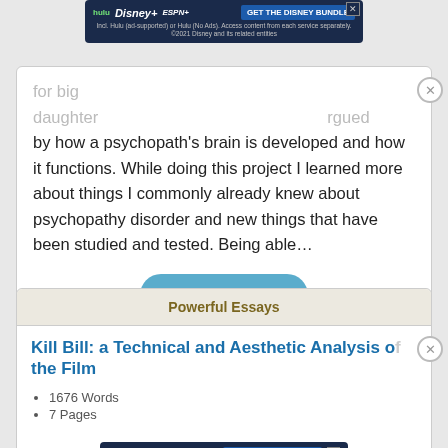by how a psychopath's brain is developed and how it functions. While doing this project I learned more about things I commonly already knew about psychopathy disorder and new things that have been studied and tested. Being able…
Read More
Powerful Essays
Kill Bill: a Technical and Aesthetic Analysis of the Film
1676 Words
7 Pages
Quentin Tarantino's Kill Bill is a movie that is easy to love